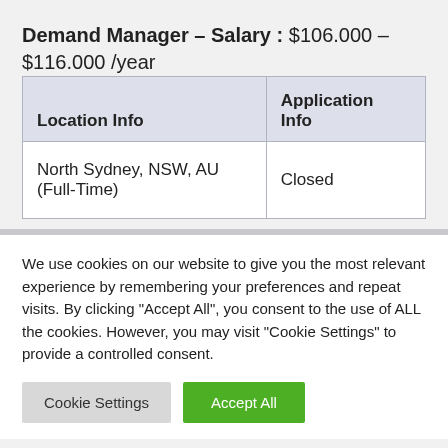Demand Manager – Salary : $106.000 – $116.000 /year
| Location Info | Application Info |
| --- | --- |
| North Sydney, NSW, AU (Full-Time) | Closed |
We use cookies on our website to give you the most relevant experience by remembering your preferences and repeat visits. By clicking "Accept All", you consent to the use of ALL the cookies. However, you may visit "Cookie Settings" to provide a controlled consent.